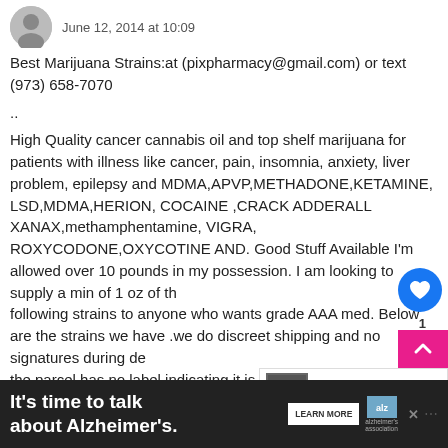June 12, 2014 at 10:09
Best Marijuana Strains:at (pixpharmacy@gmail.com) or text (973) 658-7070

..

High Quality cancer cannabis oil and top shelf marijuana for patients with illness like cancer, pain, insomnia, anxiety, liver problem, epilepsy and MDMA,APVP,METHADONE,KETAMINE, LSD,MDMA,HERION, COCAINE ,CRACK ADDERALL XANAX,methamphentamine, VIGRA, ROXYCODONE,OXYCOTINE AND. Good Stuff Available I'm allowed over 10 pounds in my possession. I am looking to supply a min of 1 oz of the following strains to anyone who wants grade AAA med. Below are the strains we have .we do discreet shipping and no signatures during delivery. the parcel has no label indicating it is carrying the 420. We do give huge discounts for orders above 2 to 3 pound. Our minimum order is Oz . For interested , do email us back with your order.

See Available strains Good for Pain, cancer, insomnia .

*Green Crack;;;;;;;;;;;; Grade: AA
*Sour...
*Gra...
[Figure (other): Alzheimer's Association advertisement banner: 'It's time to talk about Alzheimer's.' with LEARN MORE button and Alzheimer's Association logo]